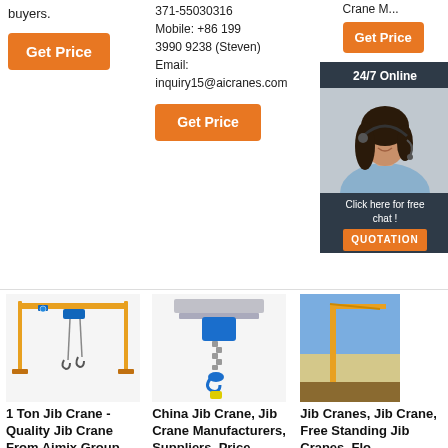buyers.
Get Price
371-55030316
Mobile: +86 199 3990 9238 (Steven)
Email: inquiry15@aicranes.com
Get Price
Crane M...
Get Price
[Figure (infographic): 24/7 Online chat widget with woman wearing headset, Click here for free chat!, QUOTATION button]
[Figure (illustration): 1 Ton Jib Crane / gantry crane illustration with yellow frame, blue trolley and hooks]
[Figure (illustration): China Jib Crane - electric chain hoist on rail, blue hoist block with chain and hook]
[Figure (illustration): Jib Cranes background construction scene]
1 Ton Jib Crane - Quality Jib Crane From Aimix Group
1 ton jib crane is a light weight jib crane
China Jib Crane, Jib Crane Manufacturers, Suppliers, Price ...
China Jib Crane
Jib Cranes, Jib Crane, Free Standing Jib Cranes, Flo...
CJB Series Wall Traveling Jib Crane.